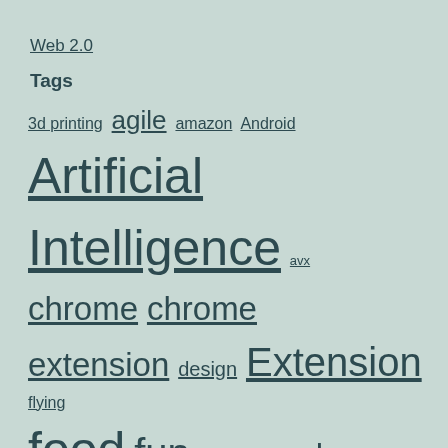Web 2.0
Tags
3d printing agile amazon Android Artificial Intelligence avx chrome chrome extension design Extension flying food fun geek google healthy hosting inspiration JavaScript jewellery joke justhost methodology milestone Oracle ovh performance photo php Places near London plm presentation python QNAP quadcopter raspberry